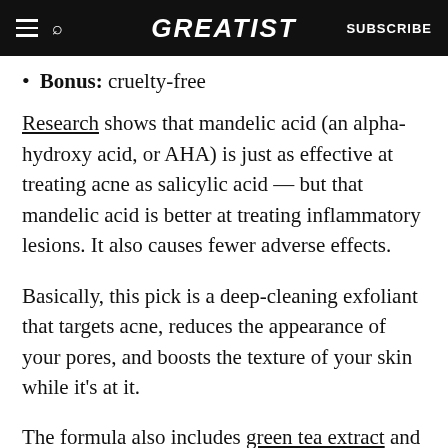GREATIST | SUBSCRIBE
Bonus: cruelty-free
Research shows that mandelic acid (an alpha-hydroxy acid, or AHA) is just as effective at treating acne as salicylic acid — but that mandelic acid is better at treating inflammatory lesions. It also causes fewer adverse effects.
Basically, this pick is a deep-cleaning exfoliant that targets acne, reduces the appearance of your pores, and boosts the texture of your skin while it's at it.
The formula also includes green tea extract and aloe leaf extract, which are two soothing…